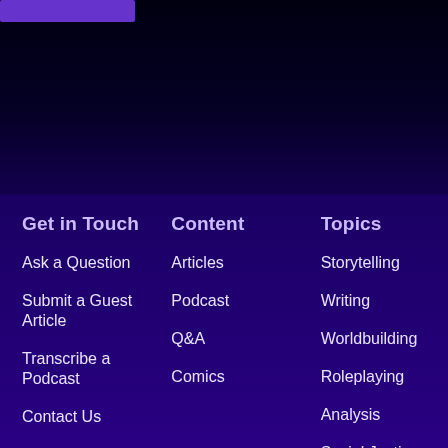[Figure (illustration): Dark starfield / night sky background at top of page with purple tones]
Get in Touch
Ask a Question
Submit a Guest Article
Transcribe a Podcast
Contact Us
Content
Articles
Podcast
Q&A
Comics
Topics
Storytelling
Writing
Worldbuilding
Roleplaying
Analysis
Social Justice
Browse All Topics